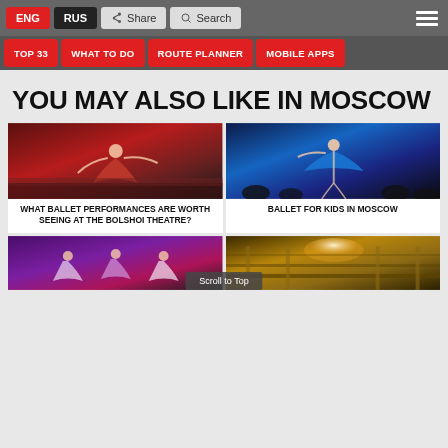ENG | RUS | Share | Search
TOP 33 | WHAT TO DO | ROUTE PLANNER | MOBILE APPS
YOU MAY ALSO LIKE IN MOSCOW
[Figure (photo): Ballet performance at Bolshoi Theatre - dancer in red dress leaping]
WHAT BALLET PERFORMANCES ARE WORTH SEEING AT THE BOLSHOI THEATRE?
[Figure (photo): Ballet dancer in blue tutu performing on stage]
BALLET FOR KIDS IN MOSCOW
[Figure (photo): Group of ballet dancers in elaborate costumes]
[Figure (photo): Interior of theatre with chandelier]
Scroll to Top